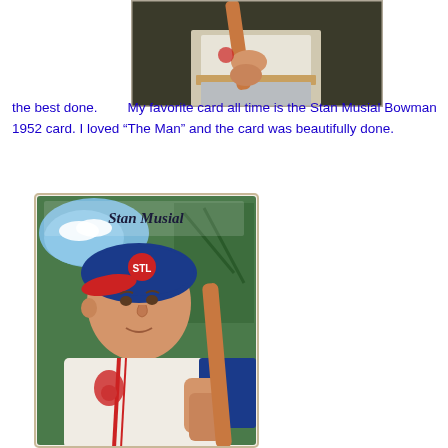[Figure (photo): Top portion of a baseball player illustration/painting showing the player holding a bat, cropped at the waist level. Vintage baseball card style artwork.]
the best done.      My favorite card all time is the Stan Musial Bowman 1952 card. I loved “The Man” and the card was beautifully done.
[Figure (photo): Stan Musial Bowman 1952 baseball card showing Stan Musial in a St. Louis Cardinals uniform holding a bat, with his signature 'Stan Musial' at the top. Illustrated/painted style card with green stadium background.]